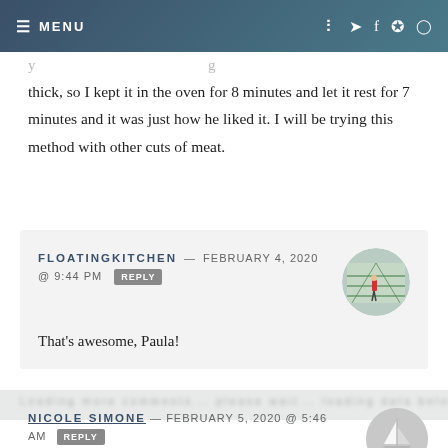MENU
thick, so I kept it in the oven for 8 minutes and let it rest for 7 minutes and it was just how he liked it. I will be trying this method with other cuts of meat.
FLOATINGKITCHEN — FEBRUARY 4, 2020 @ 9:44 PM REPLY
That's awesome, Paula!
NICOLE SIMONE — FEBRUARY 5, 2020 @ 5:46 AM REPLY
One of the first lessons I learned was how to cook